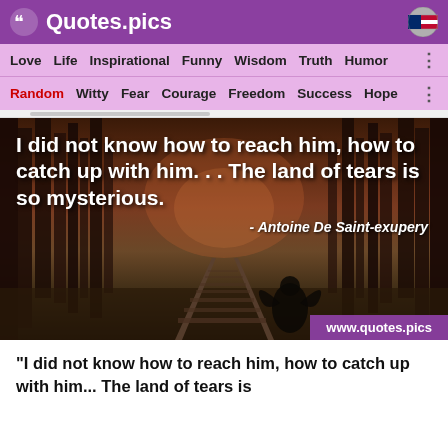Quotes.pics
Love  Life  Inspirational  Funny  Wisdom  Truth  Humor
Random  Witty  Fear  Courage  Freedom  Success  Hope
[Figure (photo): A forest scene with railway tracks leading into the distance, overlaid with a quote: 'I did not know how to reach him, how to catch up with him. . . The land of tears is so mysterious. - Antoine De Saint-exupery' and a website watermark www.quotes.pics]
“I did not know how to reach him, how to catch up with him... The land of tears is